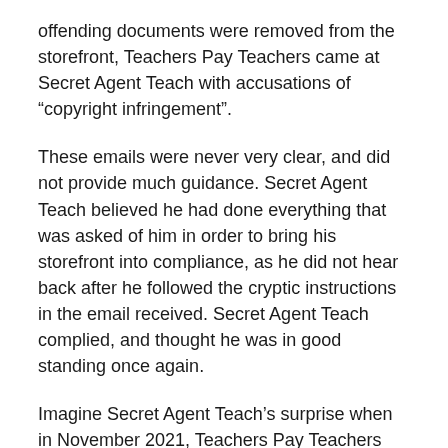offending documents were removed from the storefront, Teachers Pay Teachers came at Secret Agent Teach with accusations of “copyright infringement”.
These emails were never very clear, and did not provide much guidance. Secret Agent Teach believed he had done everything that was asked of him in order to bring his storefront into compliance, as he did not hear back after he followed the cryptic instructions in the email received. Secret Agent Teach complied, and thought he was in good standing once again.
Imagine Secret Agent Teach’s surprise when in November 2021, Teachers Pay Teachers took his entire storefront down. Unceremoniously, without notice, all of Secret Agent Teach’s hard work vanished. A few years of work, gone!
When appeals were made, Teachers Pay Teachers simply ignored Secret Agent Teach’s requests and refused to